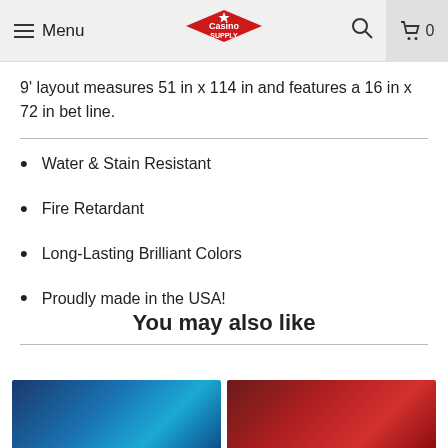Menu | Casino Supply | Search | Cart 0
9' layout measures 51 in x 114 in and features a 16 in x 72 in bet line.
Water & Stain Resistant
Fire Retardant
Long-Lasting Brilliant Colors
Proudly made in the USA!
You may also like
[Figure (photo): Blue geometric/abstract product image thumbnail]
[Figure (photo): Red geometric/abstract product image thumbnail]